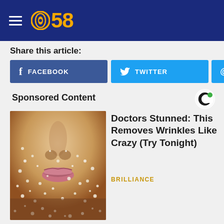[Figure (logo): CBS 58 logo with hamburger menu on dark blue header background]
Share this article:
FACEBOOK
TWITTER
@
Sponsored Content
[Figure (logo): Outbrain C logo]
[Figure (photo): Close-up photo of a face covered in white salt/sugar granules, showing nose and lips]
Doctors Stunned: This Removes Wrinkles Like Crazy (Try Tonight)
BRILLIANCE